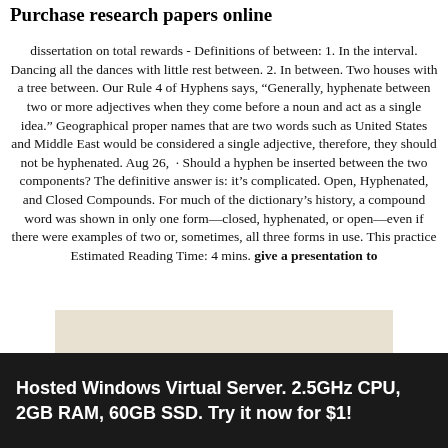Purchase research papers online
dissertation on total rewards - Definitions of between: 1. In the interval. Dancing all the dances with little rest between. 2. In between. Two houses with a tree between. Our Rule 4 of Hyphens says, “Generally, hyphenate between two or more adjectives when they come before a noun and act as a single idea.” Geographical proper names that are two words such as United States and Middle East would be considered a single adjective, therefore, they should not be hyphenated. Aug 26,  · Should a hyphen be inserted between the two components? The definitive answer is: it’s complicated. Open, Hyphenated, and Closed Compounds. For much of the dictionary’s history, a compound word was shown in only one form—closed, hyphenated, or open—even if there were examples of two or, sometimes, all three forms in use. This practice Estimated Reading Time: 4 mins. give a presentation to
[Figure (illustration): Beige/tan background box with bold serif text reading 'THE RULES OF HYPHEN']
Hosted Windows Virtual Server. 2.5GHz CPU, 2GB RAM, 60GB SSD. Try it now for $1!